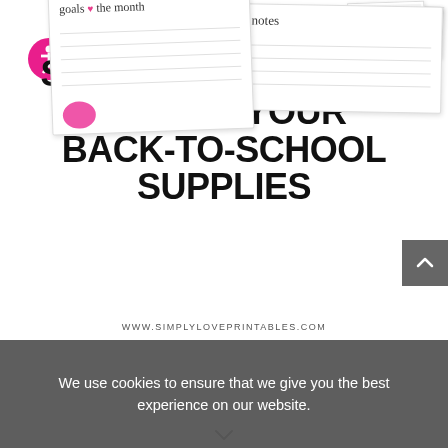[Figure (illustration): Pink accessibility icon circle with person figure]
free printable
STICKERS FOR KIDS:
ADD TO YOUR
BACK-TO-SCHOOL
SUPPLIES
WWW.SIMPLYLOVEPRINTABLES.COM
[Figure (illustration): Preview cards showing printable pages including goals of the month and notes templates]
We use cookies to ensure that we give you the best experience on our website.